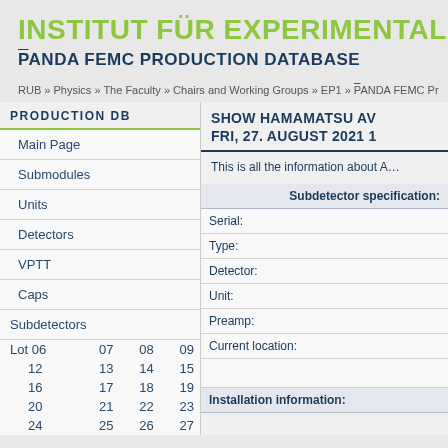INSTITUT FÜR EXPERIMENTALPHYS…
P̄ANDA FEMC PRODUCTION DATABASE
RUB » Physics » The Faculty » Chairs and Working Groups » EP1 » P̄ANDA FEMC Pr…
| PRODUCTION DB |
| --- |
| Main Page |
| Submodules |
| Units |
| Detectors |
| VPTT |
| Caps |
| Subdetectors |
| Lot 06 | 07 | 08 | 09 |
| 12 | 13 | 14 | 15 |
| 16 | 17 | 18 | 19 |
| 20 | 21 | 22 | 23 |
| 24 | 25 | 26 | 27 |
SHOW HAMAMATSU AV… FRI, 27. AUGUST 2021 1…
This is all the information about A…
| Subdetector specification: |
| --- |
| Serial: |
| Type: |
| Detector: |
| Unit: |
| Preamp: |
| Current location: |
| Installation information: |